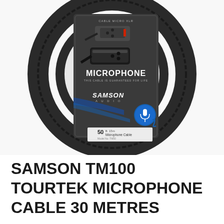[Figure (photo): Samson TM100 Tourtek Microphone Cable coiled in a circular loop with product packaging insert showing XLR connectors, MICROPHONE label, SAMSON AUDIO branding, blue microphone icon, and '50ft Microphone Cable' label at the bottom]
SAMSON TM100 TOURTEK MICROPHONE CABLE 30 METRES